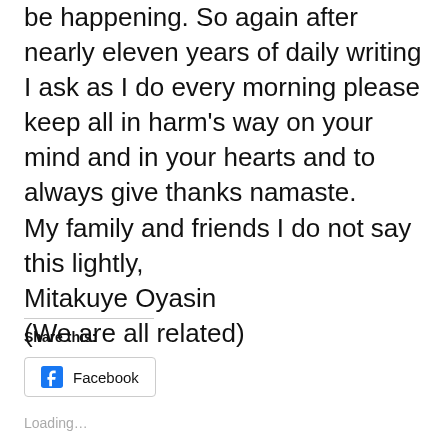be happening. So again after nearly eleven years of daily writing I ask as I do every morning please keep all in harm's way on your mind and in your hearts and to always give thanks namaste. My family and friends I do not say this lightly, Mitakuye Oyasin (We are all related) bird
Share this:
Facebook
Loading…